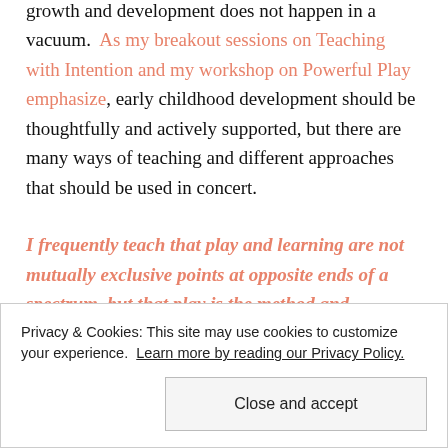growth and development does not happen in a vacuum. As my breakout sessions on Teaching with Intention and my workshop on Powerful Play emphasize, early childhood development should be thoughtfully and actively supported, but there are many ways of teaching and different approaches that should be used in concert.
I frequently teach that play and learning are not mutually exclusive points at opposite ends of a spectrum, but that play is the method and
Privacy & Cookies: This site may use cookies to customize your experience. Learn more by reading our Privacy Policy.
Close and accept
believe there is space for appropriate direct